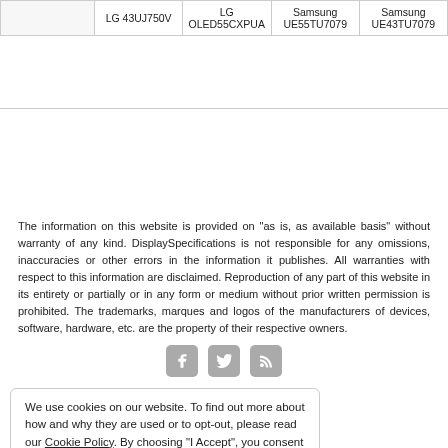|  | LG 43UJ750V | LG OLED55CXPUA | Samsung UE55TU7079 | Samsung UE43TU7079 |
| --- | --- | --- | --- | --- |
|   | LG 43UJ750V | LG OLED55CXPUA | Samsung UE55TU7079 | Samsung UE43TU7079 |
The information on this website is provided on "as is, as available basis" without warranty of any kind. DisplaySpecifications is not responsible for any omissions, inaccuracies or other errors in the information it publishes. All warranties with respect to this information are disclaimed. Reproduction of any part of this website in its entirety or partially or in any form or medium without prior written permission is prohibited. The trademarks, marques and logos of the manufacturers of devices, software, hardware, etc. are the property of their respective owners.
[Figure (other): Three social media icons: Facebook, Twitter, RSS feed]
We use cookies on our website. To find out more about how and why they are used or to opt-out, please read our Cookie Policy. By choosing "I Accept", you consent to our use of cookies.